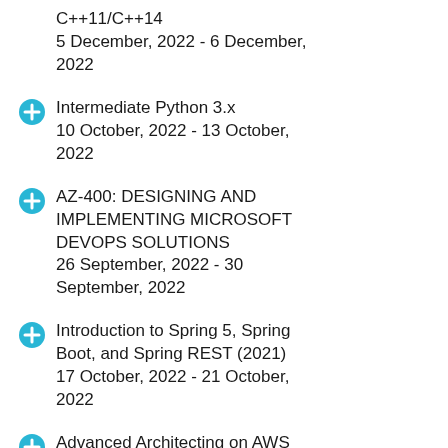C++11/C++14
5 December, 2022 - 6 December, 2022
Intermediate Python 3.x
10 October, 2022 - 13 October, 2022
AZ-400: DESIGNING AND IMPLEMENTING MICROSOFT DEVOPS SOLUTIONS
26 September, 2022 - 30 September, 2022
Introduction to Spring 5, Spring Boot, and Spring REST (2021)
17 October, 2022 - 21 October, 2022
Advanced Architecting on AWS
13 September, 2022 - 15 September, 2022
See our complete public course listing...